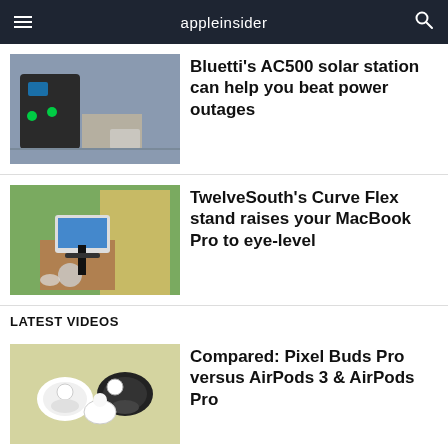appleinsider
Bluetti's AC500 solar station can help you beat power outages
TwelveSouth's Curve Flex stand raises your MacBook Pro to eye-level
LATEST VIDEOS
Compared: Pixel Buds Pro versus AirPods 3 & AirPods Pro